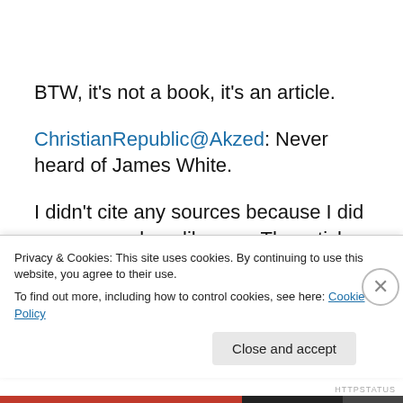BTW, it's not a book, it's an article.
ChristianRepublic@Akzed: Never heard of James White.
I didn't cite any sources because I did my own work, unlike you. The article you attached cites Encyclopedia Britannica, not a scholarly source; in other words, you would lose points for citing it in a term paper. The article is
Privacy & Cookies: This site uses cookies. By continuing to use this website, you agree to their use.
To find out more, including how to control cookies, see here: Cookie Policy